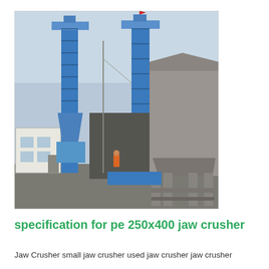[Figure (photo): Industrial facility with tall blue vertical conveyors/elevators, large hoppers and silos on steel frames, a small white building on the left, and workers visible on the ground. Overcast sky.]
specification for pe 250x400 jaw crusher
Jaw Crusher small jaw crusher used jaw crusher jaw crusher